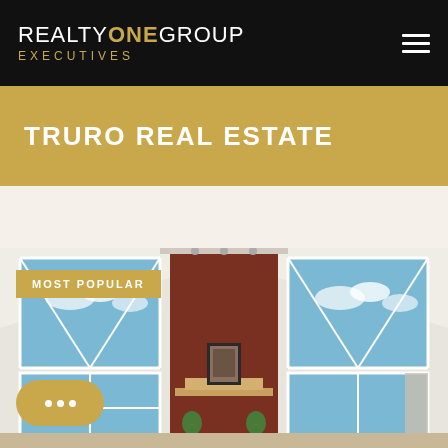REALTY ONE GROUP EXECUTIVES
TRURO REAL ESTATE
[Figure (photo): Interior living room photo with vaulted ceilings, large triangular windows, red accent wall, fireplace area with framed art, and plants. Badge reads MOST POPULAR.]